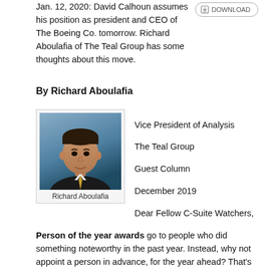Jan. 12, 2020: David Calhoun assumes his position as president and CEO of The Boeing Co. tomorrow. Richard Aboulafia of The Teal Group has some thoughts about this move.
By Richard Aboulafia
[Figure (photo): Professional headshot of Richard Aboulafia, a man in a dark suit with a gold/yellow tie, against a blue background]
Richard Aboulafia
Vice President of Analysis

The Teal Group

Guest Column

December 2019

Dear Fellow C-Suite Watchers,
Person of the year awards go to people who did something noteworthy in the past year. Instead, why not appoint a person in advance, for the year ahead? That's more exciting, since that person has yet to do the something for which they're being recognized.